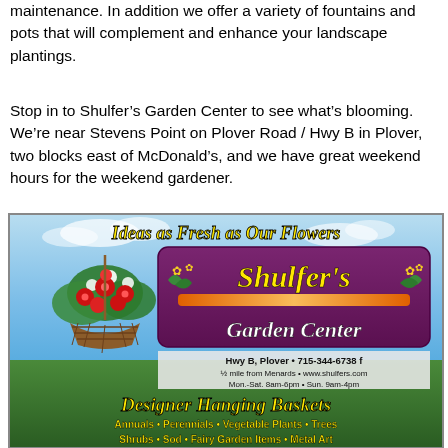maintenance. In addition we offer a variety of fountains and pots that will complement and enhance your landscape plantings.
Stop in to Shulfer's Garden Center to see what's blooming. We're near Stevens Point on Plover Road / Hwy B in Plover, two blocks east of McDonald's, and we have great weekend hours for the weekend gardener.
[Figure (illustration): Advertisement for Shulfer's Garden Center featuring tagline 'Ideas as Fresh as Our Flowers', the garden center name in a purple sign with yellow text, hanging basket of red flowers on left, 'Designer Hanging Baskets' in yellow italic text, address info: Hwy B, Plover • 715-344-6738, hours Mon.-Sat. 8am-6pm • Sun. 9am-4pm, and text 'Annuals • Perennials • Vegetable Plants • Trees Shrubs • Sod • Fairy Garden Items • Metal Art']